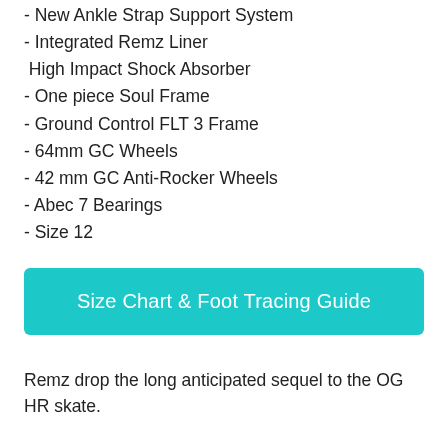- New Ankle Strap Support System
- Integrated Remz Liner
High Impact Shock Absorber
- One piece Soul Frame
- Ground Control FLT 3 Frame
- 64mm GC Wheels
- 42 mm GC Anti-Rocker Wheels
- Abec 7 Bearings
- Size 12
[Figure (other): Teal button labeled 'Size Chart & Foot Tracing Guide']
Remz drop the long anticipated sequel to the OG HR skate.
Remz HR range is about perfecting the feel of aggressive